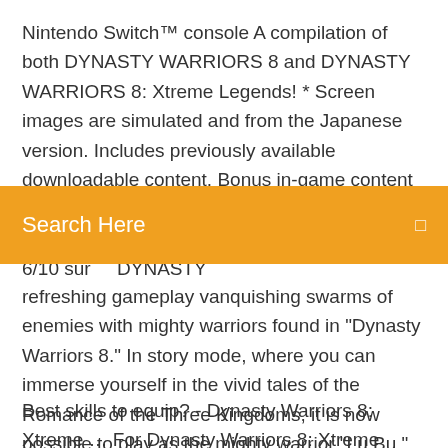Nintendo Switch™ console A compilation of both DYNASTY WARRIORS 8 and DYNASTY WARRIORS 8: Xtreme Legends! * Screen images are simulated and from the Japanese version. Includes previously available downloadable content. Bonus in-game content will be available for players with … Test Dynasty Warriors 7 : Xtreme Legends (PS3) : 6/10 sur    DYNASTY
Search Here
refreshing gameplay vanquishing swarms of enemies with mighty warriors found in "Dynasty Warriors 8." In story mode, where you can immerse yourself in the vivid tales of the Romance of the Three Kingdoms, it is now possible to play as the mighty warrior "Lu Bu," and embark on a journey that depicts his way of
Best skills to equip? - Dynasty Warriors 8: Xtreme … For Dynasty Warriors 8: Xtreme Legends Complete Edition on the